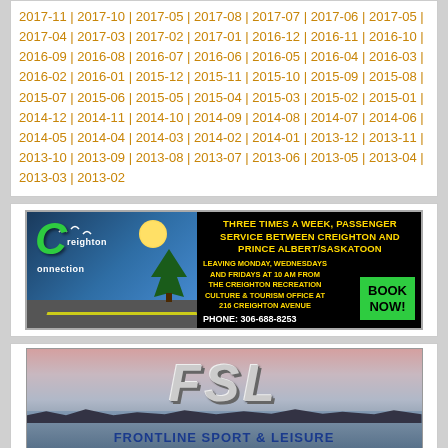2017-11 | 2017-10 | 2017-05 | 2017-08 | 2017-07 | 2017-06 | 2017-05 | 2017-04 | 2017-03 | 2017-02 | 2017-01 | 2016-12 | 2016-11 | 2016-10 | 2016-09 | 2016-08 | 2016-07 | 2016-06 | 2016-05 | 2016-04 | 2016-03 | 2016-02 | 2016-01 | 2015-12 | 2015-11 | 2015-10 | 2015-09 | 2015-08 | 2015-07 | 2015-06 | 2015-05 | 2015-04 | 2015-03 | 2015-02 | 2015-01 | 2014-12 | 2014-11 | 2014-10 | 2014-09 | 2014-08 | 2014-07 | 2014-06 | 2014-05 | 2014-04 | 2014-03 | 2014-02 | 2014-01 | 2013-12 | 2013-11 | 2013-10 | 2013-09 | 2013-08 | 2013-07 | 2013-06 | 2013-05 | 2013-04 | 2013-03 | 2013-02
[Figure (illustration): Creighton Connection advertisement banner: passenger service between Creighton and Prince Albert/Saskatoon. Three times a week, leaving Monday, Wednesdays and Fridays at 10 AM from the Creighton Recreation Culture & Tourism Office at 216 Creighton Avenue. Phone: 306-688-8253. Book Now button in green.]
[Figure (illustration): FSL Frontline Sport & Leisure advertisement banner showing logo over a lake/landscape background.]